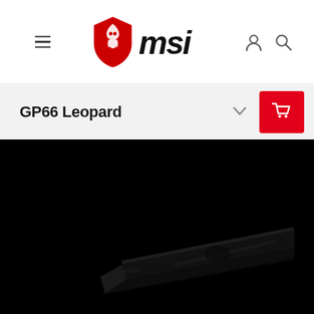MSI navigation bar with hamburger menu, MSI logo, user and search icons
GP66 Leopard
[Figure (photo): MSI GP66 Leopard gaming laptop shown from a top-angled side view on a black background, lid closed, showing the matte black finish with subtle MSI dragon logo on the lid]